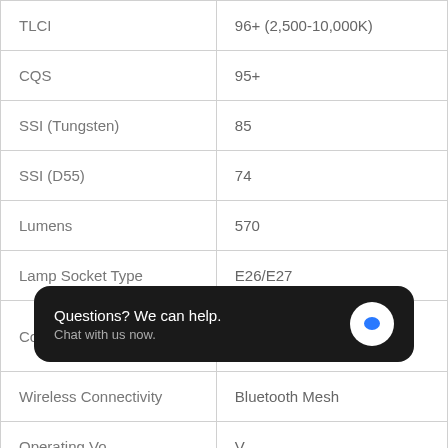| TLCI | 96+ (2,500-10,000K) |
| CQS | 95+ |
| SSI (Tungsten) | 85 |
| SSI (D55) | 74 |
| Lumens | 570 |
| Lamp Socket Type | E26/E27 |
| Control Methods | On-board Controls, Sidus Link App |
| Wireless Connectivity | Bluetooth Mesh |
| Operating Vo… | …V |
| Operating Current | 0.19A |
[Figure (other): Chat popup overlay with text 'Questions? We can help. Chat with us now.' and a blue speech bubble icon on dark background]